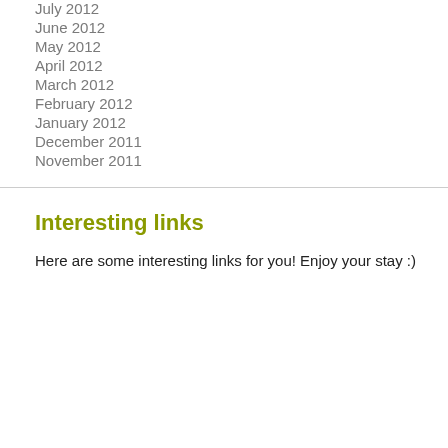July 2012
June 2012
May 2012
April 2012
March 2012
February 2012
January 2012
December 2011
November 2011
Interesting links
Here are some interesting links for you! Enjoy your stay :)